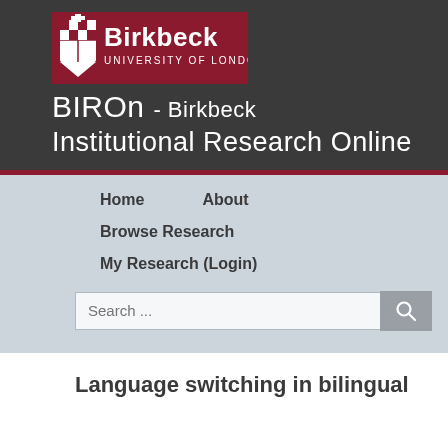[Figure (logo): Birkbeck University of London logo — dark red background with shield and text 'Birkbeck UNIVERSITY OF LONDON']
BIROn - Birkbeck Institutional Research Online
Home
About
Browse Research
My Research (Login)
Search ...
Language switching in bilingual